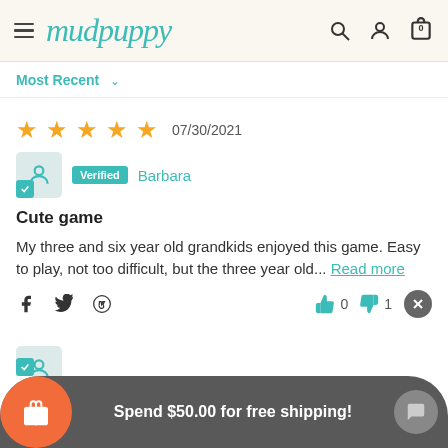mudpuppy
Most Recent
07/30/2021   ★★★★★
Verified  Barbara
Cute game
My three and six year old grandkids enjoyed this game. Easy to play, not too difficult, but the three year old... Read more
0  1
Spend $50.00 for free shipping!